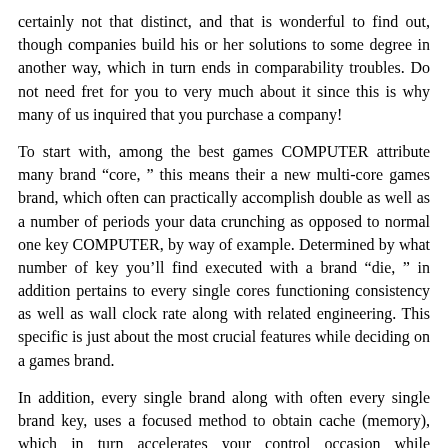certainly not that distinct, and that is wonderful to find out, though companies build his or her solutions to some degree in another way, which in turn ends in comparability troubles. Do not need fret for you to very much about it since this is why many of us inquired that you purchase a company!
To start with, among the best games COMPUTER attribute many brand “core, ” this means their a new multi-core games brand, which often can practically accomplish double as well as a number of periods your data crunching as opposed to normal one key COMPUTER, by way of example. Determined by what number of key you’ll find executed with a brand “die, ” in addition pertains to every single cores functioning consistency as well as wall clock rate along with related engineering. This specific is just about the most crucial features while deciding on a games brand.
In addition, every single brand along with often every single brand key, uses a focused method to obtain cache (memory), which in turn accelerates your control occasion while harmonized which has a more substantial potential along with useful structure. A lot of motherboards even now utilize a front-side shuttle for you to send out files or possibly a higher variety a new files travelling. This specific pertains to your precisely how rapid your brand could course of action files by simply using files transits, and that is in addition crucial, while this specific good quality drastically has an